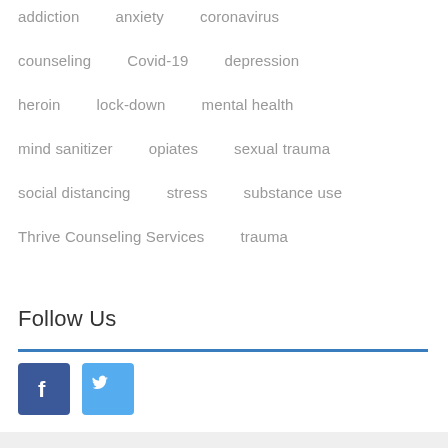addiction   anxiety   coronavirus
counseling   Covid-19   depression
heroin   lock-down   mental health
mind sanitizer   opiates   sexual trauma
social distancing   stress   substance use
Thrive Counseling Services   trauma
Follow Us
[Figure (logo): Facebook and Twitter social media icons (dark blue Facebook, light blue Twitter)]
© 2017 Thrive Counseling Services, LLC. Albuquerque, New Mexico
[Figure (logo): Twitter and Facebook social media icons in footer (light blue Twitter, dark blue Facebook)]